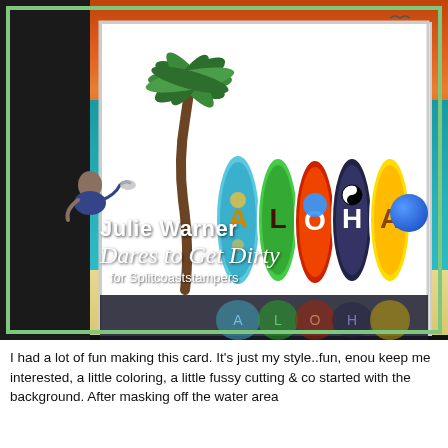[Figure (photo): A colorful handmade card featuring surfboards spelling ALOHA with a palm tree, sunset orange sky and teal ocean background. Overlaid with text 'Julie Warner Dares to Get Dirty for Splitcoaststampers'. A diver figurine is visible in the foreground.]
I had a lot of fun making this card. It's just my style..fun, enou keep me interested, a little coloring, a little fussy cutting & co started with the background. After masking off the water area